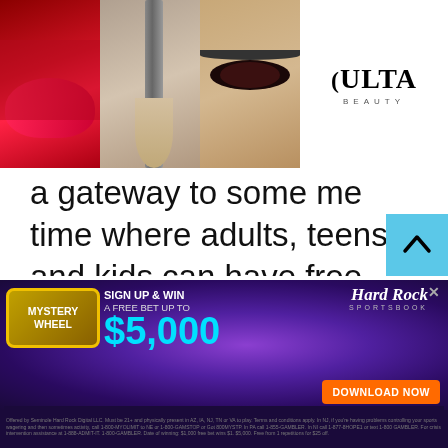[Figure (screenshot): Top banner advertisement for Ulta Beauty showing makeup images (lips, brush, eye), Ulta Beauty logo, eye makeup photo, and 'SHOP NOW' call to action with close button]
a gateway to some me time where adults, teens and kids can have free chat, random chat, stranger chat whether text chat or video chat with anyone around the globe. Get yourself away from Monday blues and find love and laughter with chat
[Figure (screenshot): Bottom banner advertisement for Hard Rock Sportsbook Mystery Wheel promotion. Sign up and win a free bet up to $5,000. Download Now button. Contains disclaimer text.]